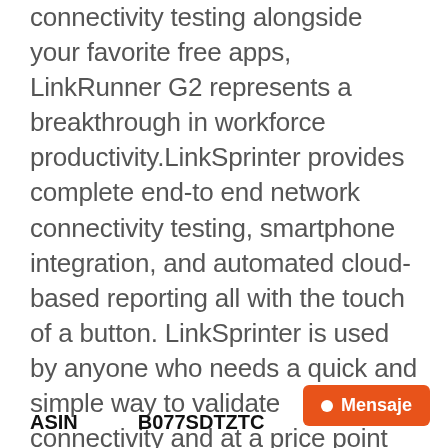connectivity testing alongside your favorite free apps, LinkRunner G2 represents a breakthrough in workforce productivity.LinkSprinter provides complete end-to end network connectivity testing, smartphone integration, and automated cloud-based reporting all with the touch of a button. LinkSprinter is used by anyone who needs a quick and simple way to validate connectivity and at a price point that fits any IT budget.Kit includes: LinkRunner G2 with Li-ion battery, Power supply with regional power plugs, WireView Cable ID #1, Inline RJ-45 coupler, USB 2.0 to Micro USB cable, 8 G Micro SD card, Small Soft Case, Getting Started Guide, (2) LinkSprinter, and (2) LinkSprinter Holster.
ASIN   B077SDTZTC